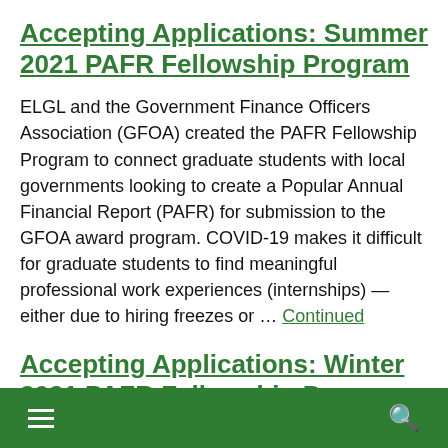Accepting Applications: Summer 2021 PAFR Fellowship Program
ELGL and the Government Finance Officers Association (GFOA) created the PAFR Fellowship Program to connect graduate students with local governments looking to create a Popular Annual Financial Report (PAFR) for submission to the GFOA award program. COVID-19 makes it difficult for graduate students to find meaningful professional work experiences (internships) — either due to hiring freezes or … Continued
Accepting Applications: Winter 2021 PAFR Fellowship Program
ELGL and the Government Finance Officers Association
≡  🔍